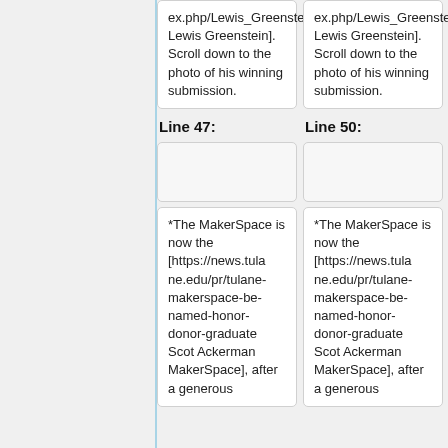ex.php/Lewis_Greenstein Lewis Greenstein]. Scroll down to the photo of his winning submission.
ex.php/Lewis_Greenstein Lewis Greenstein]. Scroll down to the photo of his winning submission.
Line 47:
Line 50:
*The MakerSpace is now the [https://news.tulane.edu/pr/tulane-makerspace-be-named-honor-donor-graduate Scot Ackerman MakerSpace], after a generous
*The MakerSpace is now the [https://news.tulane.edu/pr/tulane-makerspace-be-named-honor-donor-graduate Scot Ackerman MakerSpace], after a generous